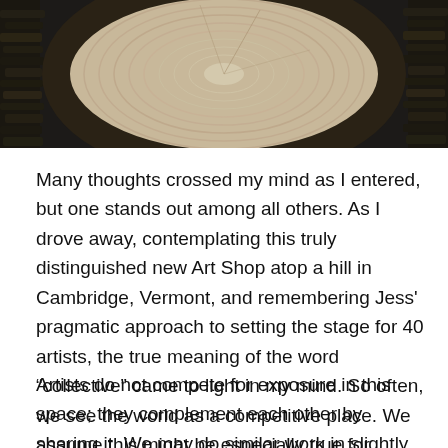[Figure (photo): Close-up photo of a circular wooden cross-section (tree trunk cut) showing growth rings, with dark textured bark around the edges. The wood grain is light-colored in the center. The image is cropped at the top of the page.]
Many thoughts crossed my mind as I entered, but one stands out among all others. As I drove away, contemplating this truly distinguished new Art Shop atop a hill in Cambridge, Vermont, and remembering Jess' pragmatic approach to setting the stage for 40 artists, the true meaning of the word “collective” came to light in my mind. So often, we see the world as a competitive place. We assume this might be especially true for artists, but this grand little shop is proving that it is not.
Artists do not compete for exposure in this space; they complement each other by sharing it. We may do similar work in slightly different styles or widely different styles, or